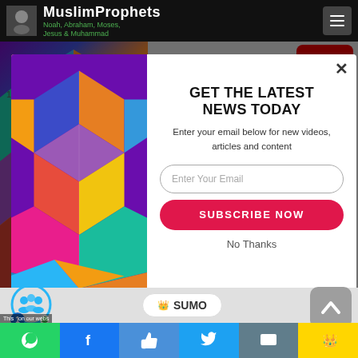MuslimProphets — Noah, Abraham, Moses, Jesus & Muhammad
1274 views • 2 hrs ago | 2 years ago
[Figure (screenshot): Modal popup overlay on a website. Left half shows colorful 3D geometric cube pattern. Right half contains newsletter signup form with headline, email input, subscribe button, and no thanks link. Close X button top right.]
GET THE LATEST NEWS TODAY
Enter your email below for new videos, articles and content
Enter Your Email
SUBSCRIBE NOW
No Thanks
This on our webs — SUMO — social share bar